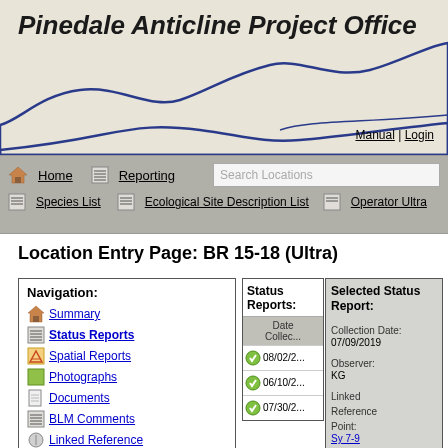Pinedale Anticline Project Office
[Figure (illustration): Mountain silhouette line drawing in dark blue on beige background, used as decorative header image]
Manual | Login
Home | Reporting | Search Locations | Species List | Ecological Site Description List | Operator Ultra
Location Entry Page: BR 15-18 (Ultra)
| Navigation: |
| --- |
| Summary |
| Status Reports |
| Spatial Reports |
| Photographs |
| Documents |
| BLM Comments |
| Linked Reference |
| Status Reports: | Selected Status Report: |
| --- | --- |
| Date Collec... |  |
| 08/02/2... | Collection Date: 07/09/2019 |
| 06/10/2... | Observer: KG |
| 07/30/2... | Linked Reference Point: Sy 7-9 |